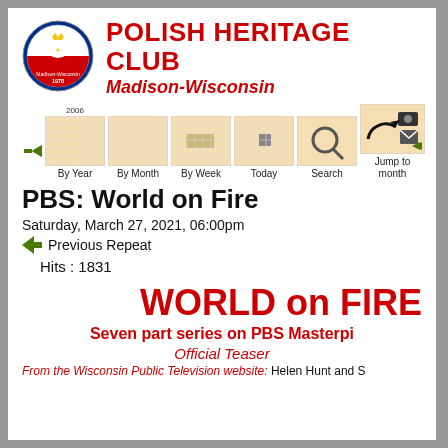[Figure (logo): Polish Heritage Club circular seal/crest with eagle on red and white, year 1978]
POLISH HERITAGE CLUB
Madison-Wisconsin
[Figure (infographic): Calendar navigation bar with By Year, By Month, By Week, Today, Search, Jump to month icons and labels]
PBS: World on Fire
Saturday, March 27, 2021, 06:00pm
Previous Repeat
Hits : 1831
WORLD on FIRE
Seven part series on PBS Masterpi
Official Teaser
From the Wisconsin Public Television website: Helen Hunt and S